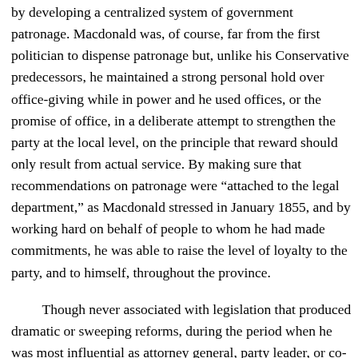by developing a centralized system of government patronage. Macdonald was, of course, far from the first politician to dispense patronage but, unlike his Conservative predecessors, he maintained a strong personal hold over office-giving while in power and he used offices, or the promise of office, in a deliberate attempt to strengthen the party at the local level, on the principle that reward should only result from actual service. By making sure that recommendations on patronage were “attached to the legal department,” as Macdonald stressed in January 1855, and by working hard on behalf of people to whom he had made commitments, he was able to raise the level of loyalty to the party, and to himself, throughout the province.

 Though never associated with legislation that produced dramatic or sweeping reforms, during the period when he was most influential as attorney general, party leader, or co-premier (1854–62), he oversaw, particularly in the late 1850s, the introduction of measures and administrative changes which contributed a good deal to the efficient running of a rapidly